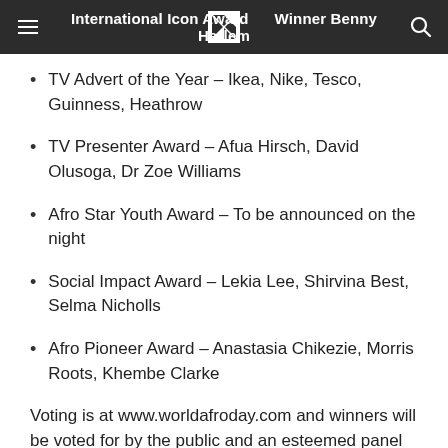International Icon Award Winner Benny Harlem
TV Advert of the Year – Ikea, Nike, Tesco, Guinness, Heathrow
TV Presenter Award – Afua Hirsch, David Olusoga, Dr Zoe Williams
Afro Star Youth Award – To be announced on the night
Social Impact Award – Lekia Lee, Shirvina Best, Selma Nicholls
Afro Pioneer Award – Anastasia Chikezie, Morris Roots, Khembe Clarke
Voting is at www.worldafroday.com and winners will be voted for by the public and an esteemed panel of judges,